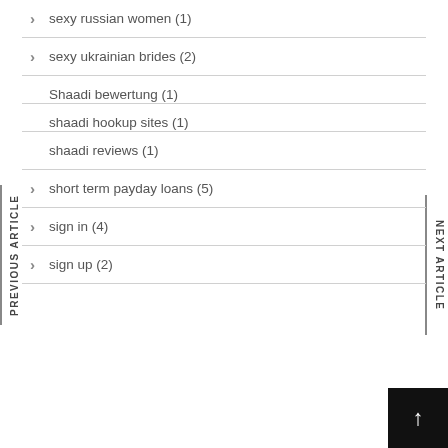sexy russian women (1)
sexy ukrainian brides (2)
Shaadi bewertung (1)
shaadi hookup sites (1)
shaadi reviews (1)
short term payday loans (5)
sign in (4)
sign up (2)